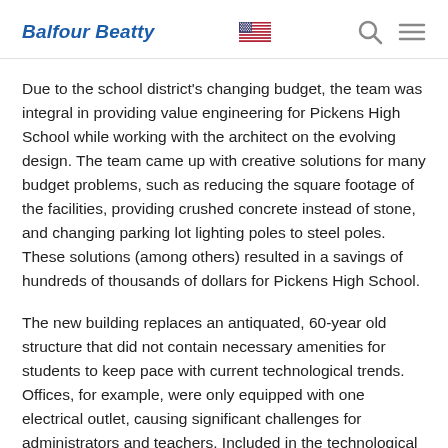Balfour Beatty
Due to the school district's changing budget, the team was integral in providing value engineering for Pickens High School while working with the architect on the evolving design. The team came up with creative solutions for many budget problems, such as reducing the square footage of the facilities, providing crushed concrete instead of stone, and changing parking lot lighting poles to steel poles. These solutions (among others) resulted in a savings of hundreds of thousands of dollars for Pickens High School.
The new building replaces an antiquated, 60-year old structure that did not contain necessary amenities for students to keep pace with current technological trends. Offices, for example, were only equipped with one electrical outlet, causing significant challenges for administrators and teachers. Included in the technological advancements of the new